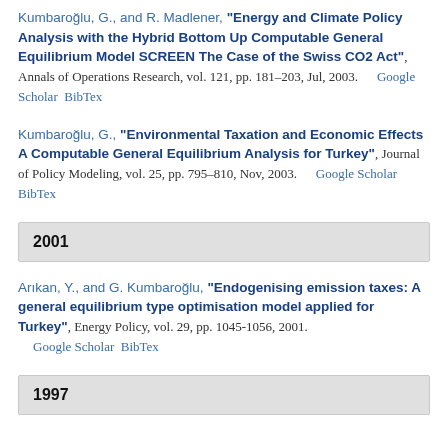Kumbaroğlu, G., and R. Madlener, "Energy and Climate Policy Analysis with the Hybrid Bottom Up Computable General Equilibrium Model SCREEN The Case of the Swiss CO2 Act", Annals of Operations Research, vol. 121, pp. 181–203, Jul, 2003.    Google Scholar  BibTex
Kumbaroğlu, G., "Environmental Taxation and Economic Effects A Computable General Equilibrium Analysis for Turkey", Journal of Policy Modeling, vol. 25, pp. 795–810, Nov, 2003.    Google Scholar  BibTex
2001
Arıkan, Y., and G. Kumbaroğlu, "Endogenising emission taxes: A general equilibrium type optimisation model applied for Turkey", Energy Policy, vol. 29, pp. 1045-1056, 2001.    Google Scholar  BibTex
1997